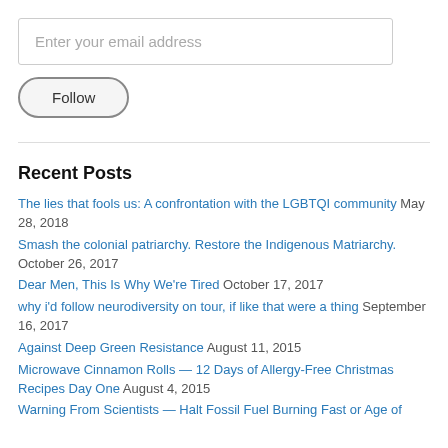Enter your email address
Follow
Recent Posts
The lies that fools us: A confrontation with the LGBTQI community May 28, 2018
Smash the colonial patriarchy. Restore the Indigenous Matriarchy. October 26, 2017
Dear Men, This Is Why We're Tired October 17, 2017
why i'd follow neurodiversity on tour, if like that were a thing September 16, 2017
Against Deep Green Resistance August 11, 2015
Microwave Cinnamon Rolls — 12 Days of Allergy-Free Christmas Recipes Day One August 4, 2015
Warning From Scientists — Halt Fossil Fuel Burning Fast or Age of